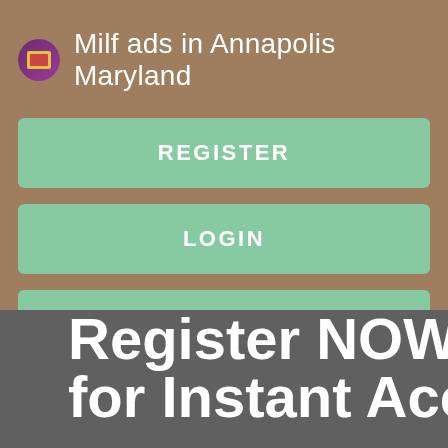Milf ads in Annapolis Maryland
REGISTER
LOGIN
CONTACT US
[Figure (screenshot): Dark gray banner area showing large white bold text 'Register NOW for Instant Acce' (truncated) on a dark background, visible in the bottom half of the screenshot]